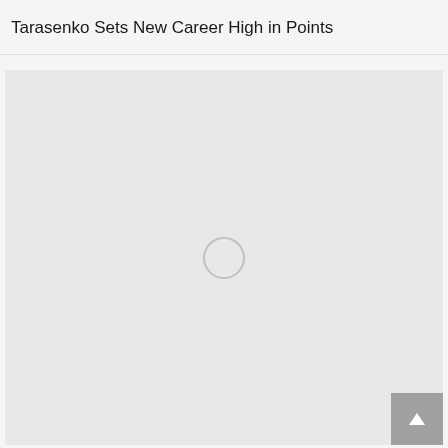Tarasenko Sets New Career High in Points
[Figure (photo): Image loading placeholder with a light gray background and a circular loading spinner in the center. A back-to-top arrow button is visible in the bottom-right corner.]